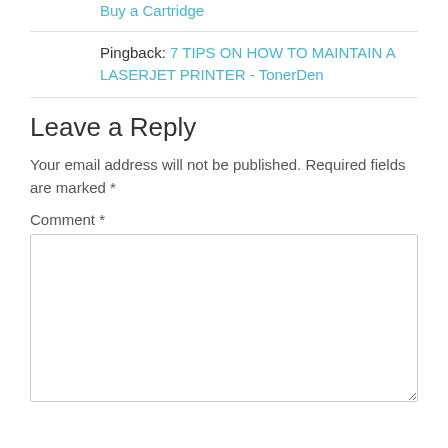Pingback: Do not checkout your Printer When You Buy a Cartridge
Pingback: 7 TIPS ON HOW TO MAINTAIN A LASERJET PRINTER - TonerDen
Leave a Reply
Your email address will not be published. Required fields are marked *
Comment *